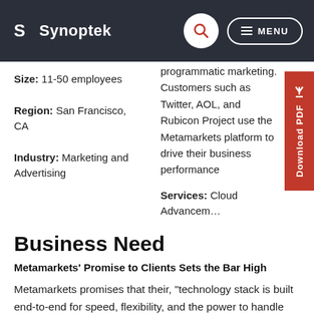Synoptek
Size: 11-50 employees
Region: San Francisco, CA
Industry: Marketing and Advertising
programmatic marketing. Customers such as Twitter, AOL, and Rubicon Project use the Metamarkets platform to drive their business performance
Services: Cloud Advancement
Business Need
Metamarkets' Promise to Clients Sets the Bar High
Metamarkets promises that their, "technology stack is built end-to-end for speed, flexibility, and the power to handle huge volumes of high dimensional ad data with an exploratory interface that enables users to pose questions in various ways, get answers